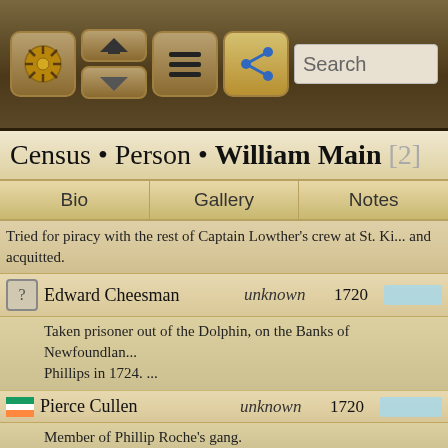[Figure (screenshot): App toolbar with navigation icons and search bar]
Census • Person • William Main [2]
Bio   Gallery   Notes
Tried for piracy with the rest of Captain Lowther's crew at St. Ki... and acquitted.
| Flag | Name | Dates | Year | Bar |
| --- | --- | --- | --- | --- |
| ? | Edward Cheesman | unknown | 1720 |  |
|  | Taken prisoner out of the Dolphin, on the Banks of Newfoundlan... Phillips in 1724. ... |  |  |  |
| Ireland | Pierce Cullen | unknown | 1720 |  |
|  | Member of Phillip Roche's gang. |  |  |  |
| Canada | Thomas Fern | unknown | 1720 |  |
|  | A Newfoundland fish-splitter. In August, 1723, joined with John small vess... |  |  |  |
| Scotland | John Fletcher [2] | unknown | 1720 |  |
|  | Of Edinburgh. Tried at Newport, Rhode Island, for piracy in 1723... His age was... |  |  |  |
| England | Cuthbert Goss | unknown | 1720 |  |
|  | Born at Topsham in Devon. The compiler of these biographies re... |  |  |  |